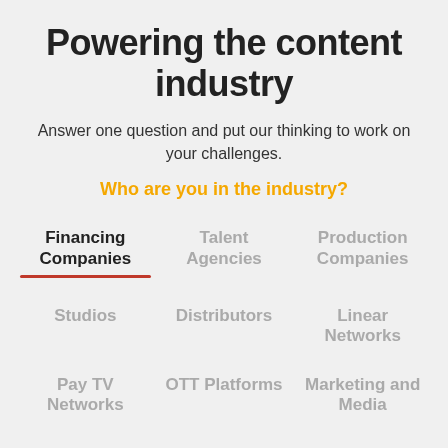Powering the content industry
Answer one question and put our thinking to work on your challenges.
Who are you in the industry?
Financing Companies
Talent Agencies
Production Companies
Studios
Distributors
Linear Networks
Pay TV Networks
OTT Platforms
Marketing and Media